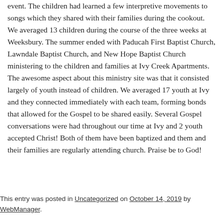event. The children had learned a few interpretive movements to songs which they shared with their families during the cookout. We averaged 13 children during the course of the three weeks at Weeksbury. The summer ended with Paducah First Baptist Church, Lawndale Baptist Church, and New Hope Baptist Church ministering to the children and families at Ivy Creek Apartments. The awesome aspect about this ministry site was that it consisted largely of youth instead of children. We averaged 17 youth at Ivy and they connected immediately with each team, forming bonds that allowed for the Gospel to be shared easily. Several Gospel conversations were had throughout our time at Ivy and 2 youth accepted Christ! Both of them have been baptized and them and their families are regularly attending church. Praise be to God!
This entry was posted in Uncategorized on October 14, 2019 by WebManager.